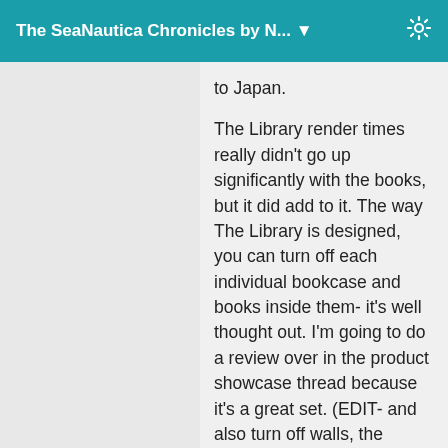The SeaNautica Chronicles by N... ▼
to Japan.

The Library render times really didn't go up significantly with the books, but it did add to it. The way The Library is designed, you can turn off each individual bookcase and books inside them- it's well thought out. I'm going to do a review over in the product showcase thread because it's a great set. (EDIT- and also turn off walls, the ceiling, etc- so you can eliminate HUGE sections of the set to cut down render times.)